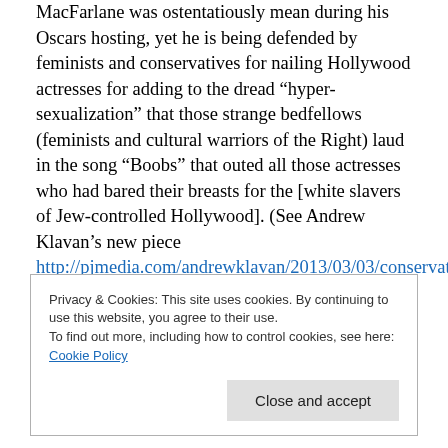MacFarlane was ostentatiously mean during his Oscars hosting, yet he is being defended by feminists and conservatives for nailing Hollywood actresses for adding to the dread “hyper-sexualization” that those strange bedfellows (feminists and cultural warriors of the Right) laud in the song “Boobs” that outed all those actresses who had bared their breasts for the [white slavers of Jew-controlled Hollywood]. (See Andrew Klavan’s new piece http://pjmedia.com/andrewklavan/2013/03/03/conservatives-are-boobs-when-it-comes-to-pop-culture/. Then compare Klavan’s defense of MacFarlane with my own analysis:
Privacy & Cookies: This site uses cookies. By continuing to use this website, you agree to their use. To find out more, including how to control cookies, see here: Cookie Policy